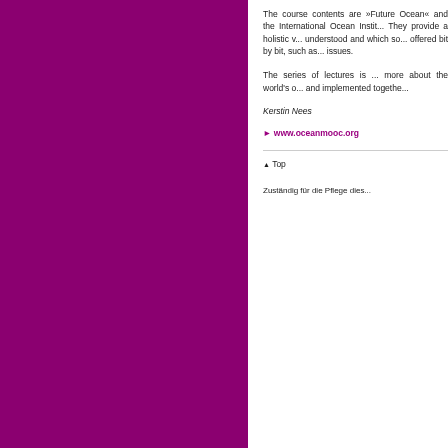[Figure (illustration): Solid magenta/purple colored rectangular panel on the left side of the page]
The course contents are »Future Ocean« and the International Ocean Instit... They provide a holistic v... understood and which so... offered bit by bit, such as... issues.
The series of lectures is ... more about the world's o... and implemented togethe...
Kerstin Nees
► www.oceanmooc.org
▲ Top
Zuständig für die Pflege dies...